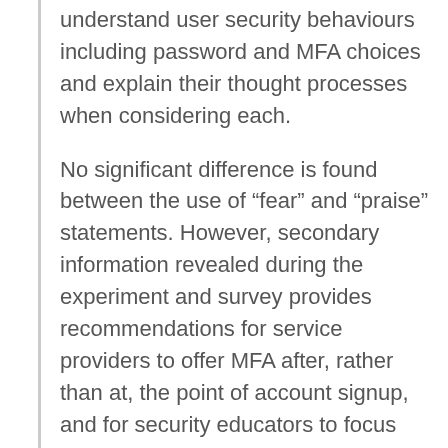understand user security behaviours including password and MFA choices and explain their thought processes when considering each.
No significant difference is found between the use of “fear” and “praise” statements. However, secondary information revealed during the experiment and survey provides recommendations for service providers to offer MFA after, rather than at, the point of account signup, and for security educators to focus their energies on dispelling user preconceptions about the convenience, privacy implications, and